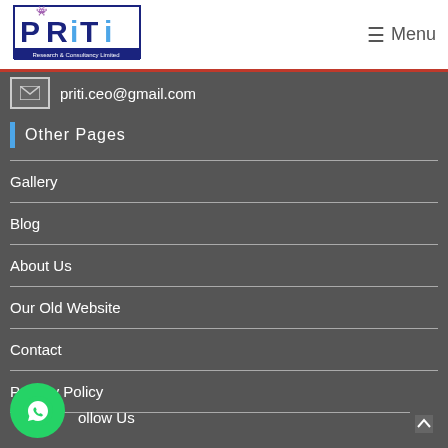PRITI Research & Consultancy Limited — Menu
priti.ceo@gmail.com
Other Pages
Gallery
Blog
About Us
Our Old Website
Contact
Privacy Policy
Follow Us